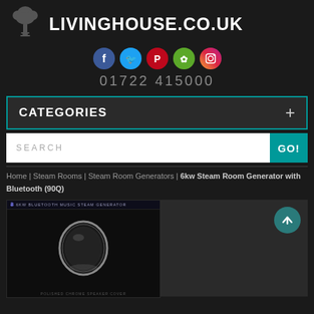LIVINGHOUSE.CO.UK
01722 415000
CATEGORIES +
SEARCH  GO!
Home | Steam Rooms | Steam Room Generators | 6kw Steam Room Generator with Bluetooth (90Q)
[Figure (photo): 6KW Bluetooth Music Steam Generator product image showing a polished chrome speaker cover against a dark background]